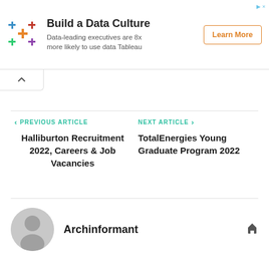[Figure (other): Tableau advertisement banner: colorful plus/cross icon, 'Build a Data Culture' heading, subtext 'Data-leading executives are 8x more likely to use data Tableau', and 'Learn More' button]
‹ PREVIOUS ARTICLE
Halliburton Recruitment 2022, Careers & Job Vacancies
NEXT ARTICLE ›
TotalEnergies Young Graduate Program 2022
Archinformant